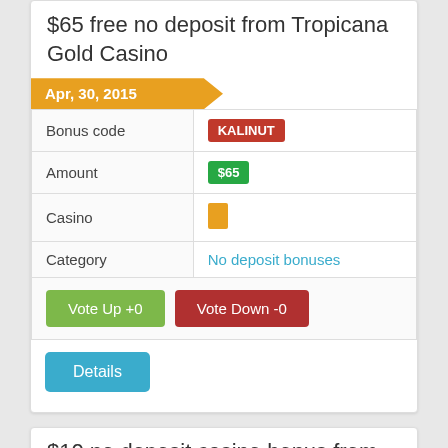$65 free no deposit from Tropicana Gold Casino
|  |  |
| --- | --- |
| Bonus code | KALINUT |
| Amount | $65 |
| Casino | (icon) |
| Category | No deposit bonuses |
|  | Vote Up +0  Vote Down -0 |
Details
$10 no deposit casino bonus from Jackpot Grand Casino
Apr, 30, 2015